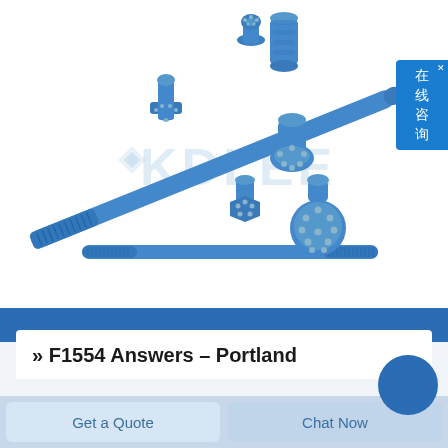[Figure (photo): Blue mining/drilling tools and accessories: multiple drill bits of various types, a long drill rod/steel, and a coupling sleeve, all in blue color with carbide inserts. Brand watermark 'KDLEE' visible. Product displayed on white background.]
» F1554 Answers – Portland
Get a Quote
Chat Now